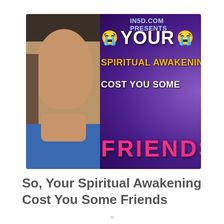[Figure (photo): Thumbnail image for an IN5D.COM video/article showing a middle-aged man with long gray hair praying with clasped hands on the left half, and on the right half a purple graphic with text: 'IN5D.COM PRESENTS', crying emoji, 'YOUR', 'SPIRITUAL AWAKENING', 'COST YOU SOME', 'FRIENDS' in pink bold letters.]
So, Your Spiritual Awakening Cost You Some Friends